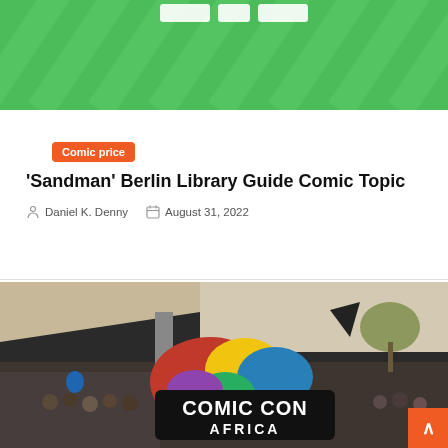[Figure (screenshot): Green background with diagonal stripe pattern and white UI elements at the top]
Comic price
'Sandman' Berlin Library Guide Comic Topic
Daniel K. Denny  August 31, 2022
[Figure (photo): Comic Con Africa outdoor event photo with crowd and colorful Comic Con Africa logo overlay, orange scroll-to-top button in bottom right corner]